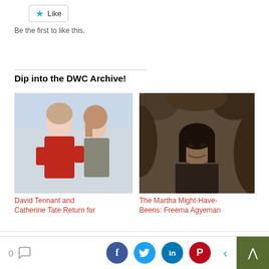[Figure (other): Like button with star icon]
Be the first to like this.
Dip into the DWC Archive!
[Figure (photo): David Tennant in red jacket with Catherine Tate]
[Figure (photo): Woman partially hidden in cave/rocks - Freema Agyeman]
David Tennant and Catherine Tate Return for
The Martha Might-Have-Beens: Freema Agyeman
We use cookies on our website to give you the most relevant experience by remembering your preferences and repeat visits. By clicking “Accept”, you consent to the use of ALL the cookies.
Do not sell my personal information.
0 [comment icon] [Facebook] [Twitter] [LinkedIn] [Pinterest] [back] [top]